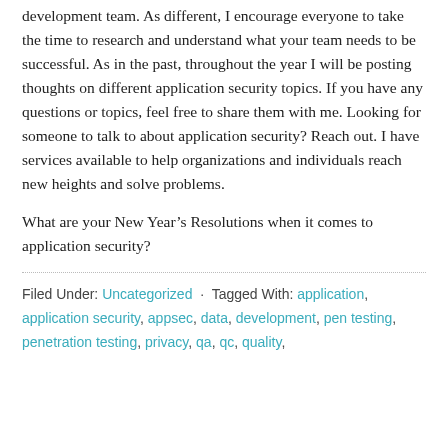development team. As different, I encourage everyone to take the time to research and understand what your team needs to be successful. As in the past, throughout the year I will be posting thoughts on different application security topics. If you have any questions or topics, feel free to share them with me. Looking for someone to talk to about application security? Reach out. I have services available to help organizations and individuals reach new heights and solve problems.
What are your New Year's Resolutions when it comes to application security?
Filed Under: Uncategorized · Tagged With: application, application security, appsec, data, development, pen testing, penetration testing, privacy, qa, qc, quality,